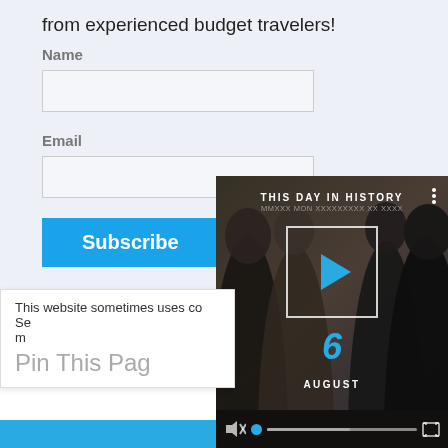from experienced budget travelers!
Name
Email
Subscribe
Share This Page
This website sometimes uses co... Se... m...
Pin This Page
[Figure (screenshot): Video overlay showing 'THIS DAY IN HISTORY' with people silhouettes, a play button, blue logo mark, 'AUGUST' text, and video controls with mute, progress bar, and fullscreen button]